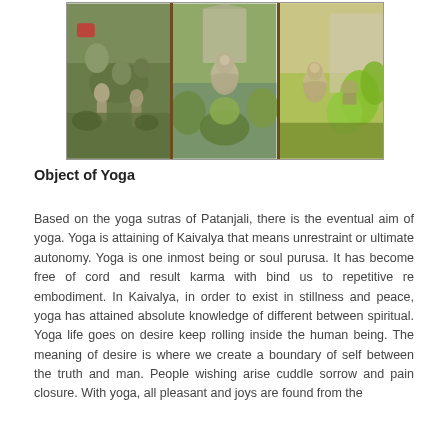[Figure (photo): Three panel collage of outdoor stone/Buddhist statues surrounded by lush green gardens and foliage]
Object of Yoga
Based on the yoga sutras of Patanjali, there is the eventual aim of yoga. Yoga is attaining of Kaivalya that means unrestraint or ultimate autonomy. Yoga is one inmost being or soul purusa. It has become free of cord and result karma with bind us to repetitive re embodiment. In Kaivalya, in order to exist in stillness and peace, yoga has attained absolute knowledge of different between spiritual. Yoga life goes on desire keep rolling inside the human being. The meaning of desire is where we create a boundary of self between the truth and man. People wishing arise cuddle sorrow and pain closure. With yoga, all pleasant and joys are found from the